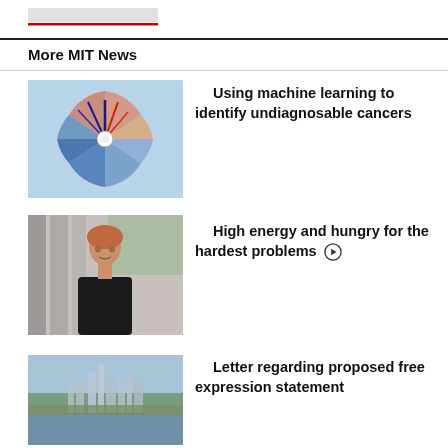More MIT News
[Figure (photo): Circular machine learning visualization diagram with colorful radial segments and spikes in blue and red on a light blue background]
Using machine learning to identify undiagnosable cancers
[Figure (photo): Portrait photo of a woman with auburn hair wearing a black outfit, standing in front of blurred building columns and greenery]
High energy and hungry for the hardest problems
[Figure (photo): Aerial cityscape photo showing a skyline with trees and water in the foreground]
Letter regarding proposed free expression statement